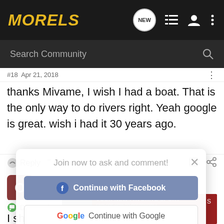MORELS
#18  Apr 21, 2018
thanks Mivame, I wish I had a boat. That is the only way to do rivers right. Yeah google is great. wish i had it 30 years ago.
[Figure (screenshot): Join now modal overlay with Continue with Facebook, Continue with Google, Continue with Apple buttons]
oldlords · Registered
Joined Apr 29, 2013 · 35 Posts
I should...
[Figure (photo): Advertisement banner: YOUR NEW FAVORITE SPORT - EXPLORE HOW TO RESPONSIBLY PARTICIPATE IN THE SHOOTING SPORTS. START HERE!]